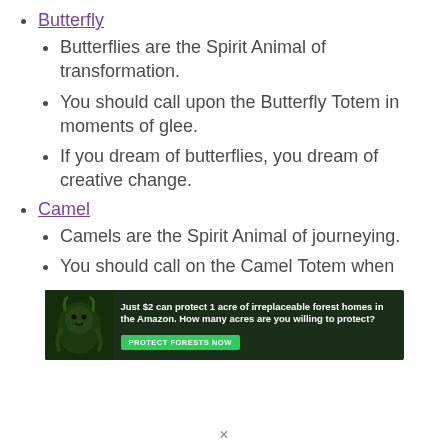Butterfly
Butterflies are the Spirit Animal of transformation.
You should call upon the Butterfly Totem in moments of glee.
If you dream of butterflies, you dream of creative change.
Camel
Camels are the Spirit Animal of journeying.
You should call on the Camel Totem when
[Figure (infographic): Advertisement banner with dark forest background and sloth image. Text reads: Just $2 can protect 1 acre of irreplaceable forest homes in the Amazon. How many acres are you willing to protect? Button: PROTECT FORESTS NOW]
×